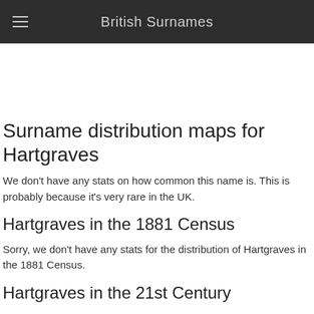British Surnames
Surname distribution maps for Hartgraves
We don't have any stats on how common this name is. This is probably because it's very rare in the UK.
Hartgraves in the 1881 Census
Sorry, we don't have any stats for the distribution of Hartgraves in the 1881 Census.
Hartgraves in the 21st Century
Sorry, we don't have any stats for the distribution of Hartgraves